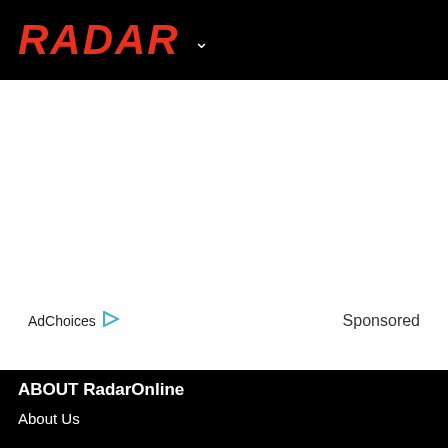RADAR
AdChoices ▷   Sponsored
ABOUT RadarOnline
About Us